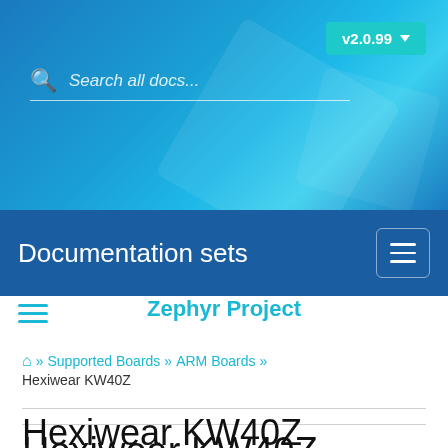[Figure (screenshot): Website header with blue gradient background, version button v2.0.99 with dropdown arrow, and search bar with placeholder text 'Search all docs...']
Documentation sets
Zephyr Project
🏠 » Supported Boards » ARM Boards » Hexiwear KW40Z
Hexiwear KW40Z
Overview